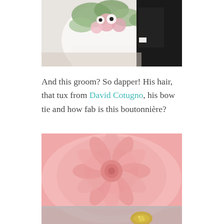[Figure (photo): Wedding photo showing bride holding a large floral bouquet with white, pink flowers and greenery, groom in black tux visible in background]
And this groom? So dapper! His hair, that tux from David Cotugno, his bow tie and how fab is this boutonnière?
[Figure (photo): Close-up macro photo of a pink boutonnière flower with soft blurred background and gold decorative element at bottom]